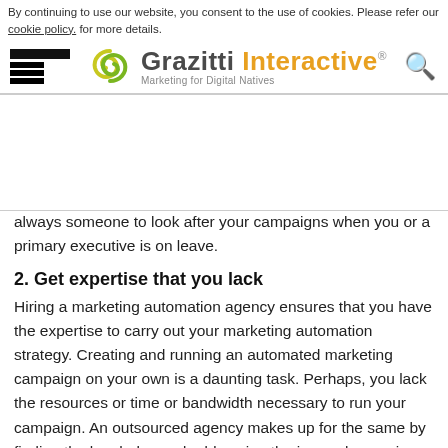By continuing to use our website, you consent to the use of cookies. Please refer our cookie policy. for more details.
[Figure (logo): Grazitti Interactive logo with stylized swirl icon, tagline: Marketing for Digital Natives]
always someone to look after your campaigns when you or a primary executive is on leave.
2. Get expertise that you lack
Hiring a marketing automation agency ensures that you have the expertise to carry out your marketing automation strategy. Creating and running an automated marketing campaign on your own is a daunting task. Perhaps, you lack the resources or time or bandwidth necessary to run your campaign. An outsourced agency makes up for the same by finding the loopholes and addressing the issues leveraging their resources, skills, and expertise.
3. Lead nurturing no more a challenge
Once you outsource your marketing automation, lead